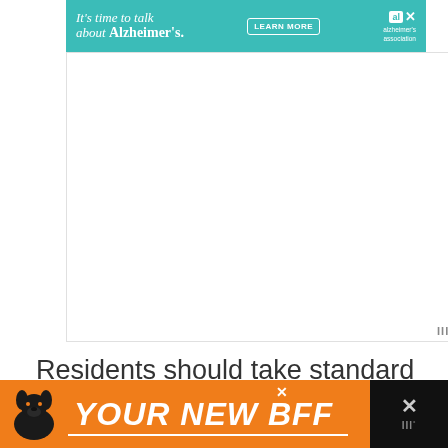[Figure (infographic): Alzheimer's Association advertisement banner with teal background reading "It's time to talk about Alzheimer's." with a LEARN MORE button and Alzheimer's Association logo]
[Figure (other): White rectangular area serving as a weather widget or ad placeholder with a weather app logo (III°) in the bottom right corner]
Residents should take standard safety precautions when moving about St. Paul but should not expect a higher than average level of violent crime.
[Figure (infographic): Orange advertisement banner at bottom showing a dog silhouette and text "YOUR NEW BFF" with close button, on a dark background]